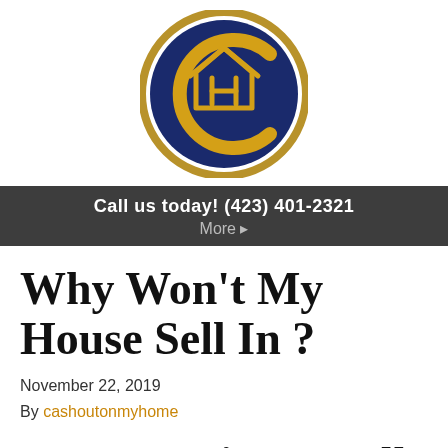[Figure (logo): Circular logo with dark navy blue ring, gold 'C' letter outline forming the outer ring, gold house icon in the center with 'H' inside.]
Call us today! (423) 401-2321
More ▸
Why Won't My House Sell In ?
November 22, 2019
By cashoutonmyhome
You're trying to sell a